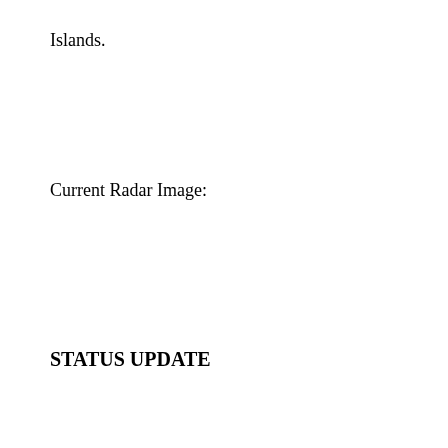Islands.
Current Radar Image:
STATUS UPDATE